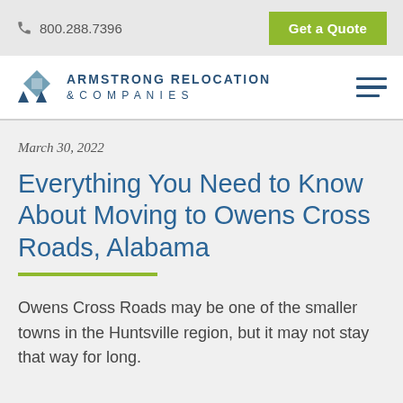800.288.7396   Get a Quote
[Figure (logo): Armstrong Relocation & Companies logo with navigation menu icon]
March 30, 2022
Everything You Need to Know About Moving to Owens Cross Roads, Alabama
Owens Cross Roads may be one of the smaller towns in the Huntsville region, but it may not stay that way for long.